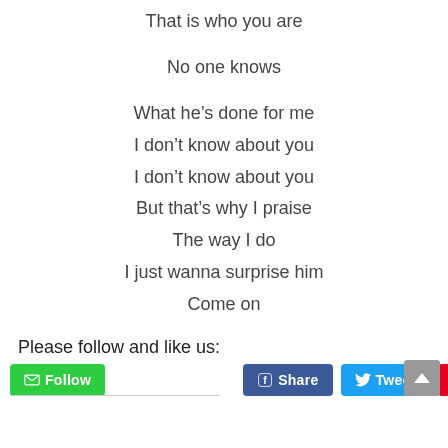That is who you are

No one knows

What he's done for me
I don't know about you
I don't know about you
But that's why I praise
The way I do
I just wanna surprise him
Come on
Please follow and like us:
[Figure (screenshot): Social media buttons: green Follow button, blue Facebook Share button, light-blue Twitter Tweet button, red Pinterest Save button, and gray scroll-to-top button]